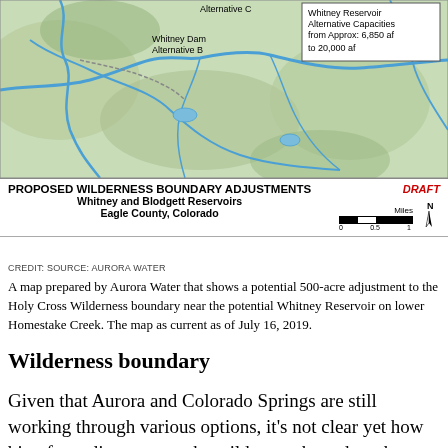[Figure (map): Map showing proposed wilderness boundary adjustments near Whitney Reservoir, with Alternative B and Alternative C labels and blue stream lines on green terrain background. Includes callout box: 'Whitney Reservoir Alternative Capacities from Approx: 6,850 af to 20,000 af'.]
PROPOSED WILDERNESS BOUNDARY ADJUSTMENTS
Whitney and Blodgett Reservoirs
Eagle County, Colorado
DRAFT
CREDIT: SOURCE: AURORA WATER
A map prepared by Aurora Water that shows a potential 500-acre adjustment to the Holy Cross Wilderness boundary near the potential Whitney Reservoir on lower Homestake Creek. The map as current as of July 16, 2019.
Wilderness boundary
Given that Aurora and Colorado Springs are still working through various options, it's not clear yet how big of an adjustment to the wilderness boundary they might